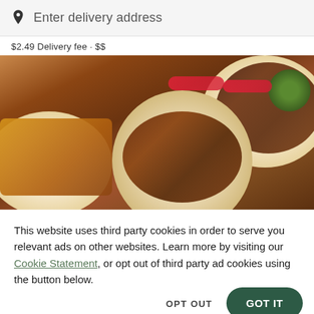Enter delivery address
$2.49 Delivery fee · $$
[Figure (photo): Overhead view of multiple plates of food including grilled meats, cheese dishes, and garnishes with radishes and green herbs on a dark wooden table]
This website uses third party cookies in order to serve you relevant ads on other websites. Learn more by visiting our Cookie Statement, or opt out of third party ad cookies using the button below.
OPT OUT
GOT IT